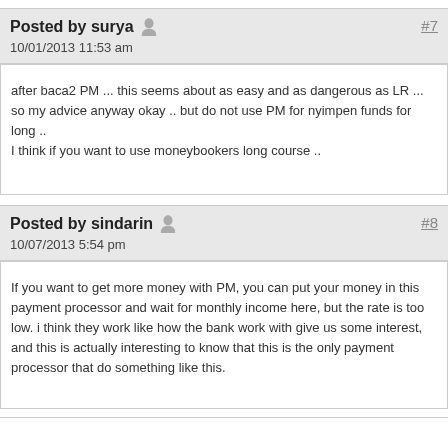Posted by surya  10/01/2013 11:53 am  #7
after baca2 PM ... this seems about as easy and as dangerous as LR ... so my advice anyway okay .. but do not use PM for nyimpen funds for long ..
I think if you want to use moneybookers long course ..
Posted by sindarin  10/07/2013 5:54 pm  #8
If you want to get more money with PM, you can put your money in this payment processor and wait for monthly income here, but the rate is too low. i think they work like how the bank work with give us some interest, and this is actually interesting to know that this is the only payment processor that do something like this.